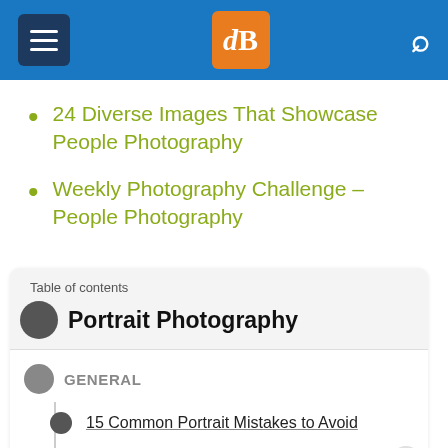[Figure (screenshot): Website navigation bar with hamburger menu icon, dPS logo in orange, and search icon on blue background]
24 Diverse Images That Showcase People Photography
Weekly Photography Challenge – People Photography
Table of contents
Portrait Photography
GENERAL
15 Common Portrait Mistakes to Avoid
10 Ways to Direct a Portrait Shoot like a Pro